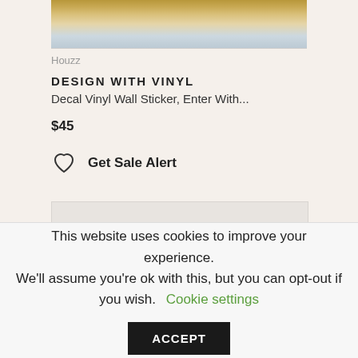[Figure (photo): Product image top portion - decorative wall sticker item, partially visible]
Houzz
DESIGN WITH VINYL
Decal Vinyl Wall Sticker, Enter With...
$45
Get Sale Alert
[Figure (photo): Second product image, mostly blank/loading]
This website uses cookies to improve your experience. We'll assume you're ok with this, but you can opt-out if you wish. Cookie settings ACCEPT